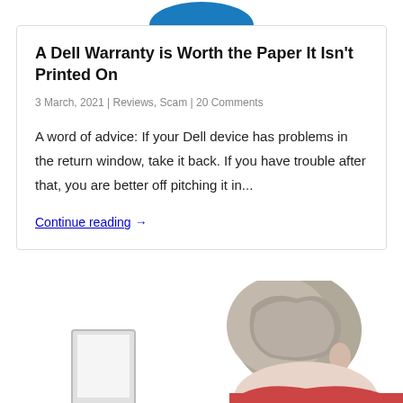[Figure (logo): Partial blue circular logo visible at top of page]
A Dell Warranty is Worth the Paper It Isn't Printed On
3 March, 2021 | Reviews, Scam | 20 Comments
A word of advice: If your Dell device has problems in the return window, take it back. If you have trouble after that, you are better off pitching it in...
Continue reading →
[Figure (photo): Elderly person with grey hair hunched over a laptop computer, viewed from behind/side, white background]